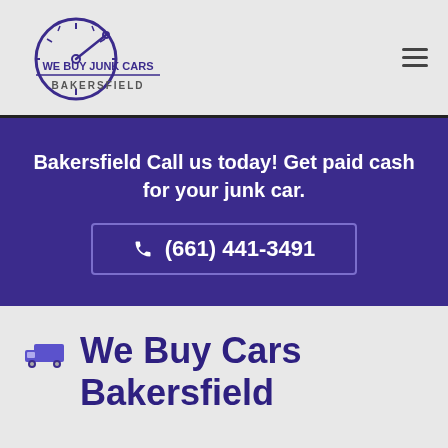[Figure (logo): We Buy Junk Cars Bakersfield logo — speedometer clock icon with text 'WE BUY JUNK CARS' in blue and 'BAKERSFIELD' below]
Bakersfield Call us today! Get paid cash for your junk car.
(661) 441-3491
We Buy Cars Bakersfield